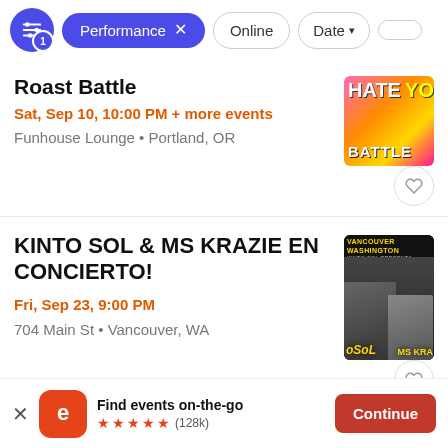[Figure (screenshot): Filter bar with active blue Performance pill, Online pill, Date pill, and partially visible pill]
Roast Battle
Sat, Sep 10, 10:00 PM + more events
Funhouse Lounge • Portland, OR
KINTO SOL & MS KRAZIE EN CONCIERTO!
Fri, Sep 23, 9:00 PM
704 Main St • Vancouver, WA
Find events on-the-go ★★★★★ (128k)  Continue